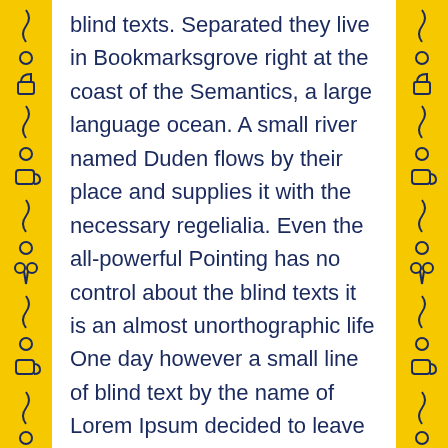blind texts. Separated they live in Bookmarksgrove right at the coast of the Semantics, a large language ocean. A small river named Duden flows by their place and supplies it with the necessary regelialia. Even the all-powerful Pointing has no control about the blind texts it is an almost unorthographic life One day however a small line of blind text by the name of Lorem Ipsum decided to leave for the far World of